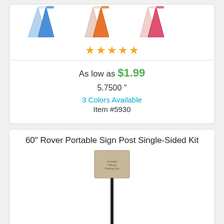[Figure (photo): Row of colorful cups in pairs: light blue and blue, pink and orange, light pink and red/pink]
[Figure (other): Five gold star rating icons]
As low as $1.99
5.7500 "
3 Colors Available
Item #5930
60" Rover Portable Sign Post Single-Sided Kit
[Figure (photo): A portable sign post with a rectangular sign on top reading Curbside Pick-Up Parking Only, mounted on a black pole]